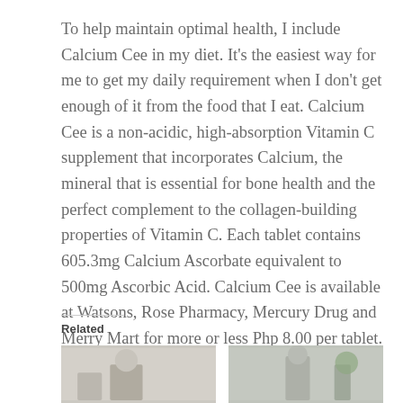To help maintain optimal health, I include Calcium Cee in my diet. It's the easiest way for me to get my daily requirement when I don't get enough of it from the food that I eat. Calcium Cee is a non-acidic, high-absorption Vitamin C supplement that incorporates Calcium, the mineral that is essential for bone health and the perfect complement to the collagen-building properties of Vitamin C. Each tablet contains 605.3mg Calcium Ascorbate equivalent to 500mg Ascorbic Acid. Calcium Cee is available at Watsons, Rose Pharmacy, Mercury Drug and Merry Mart for more or less Php 8.00 per tablet.
Related
[Figure (photo): Image on the left showing a person or indoor scene with light tones]
[Figure (photo): Image on the right showing a woman standing indoors with plants]